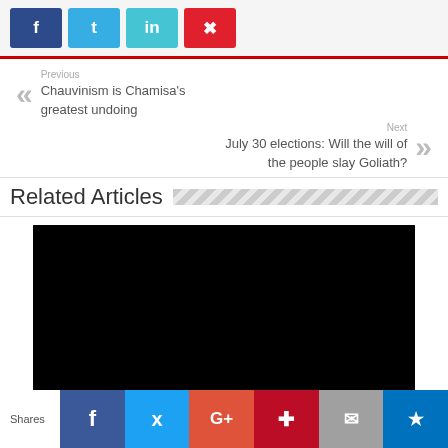[Figure (other): Social media share buttons: Facebook (dark blue), Twitter (light blue), LinkedIn (teal), Pinterest (red)]
Previous
Chauvinism is Chamisa's greatest undoing
Next
July 30 elections: Will the will of the people slay Goliath?
Related Articles
[Figure (photo): Black rectangular image area for a related article]
Shares